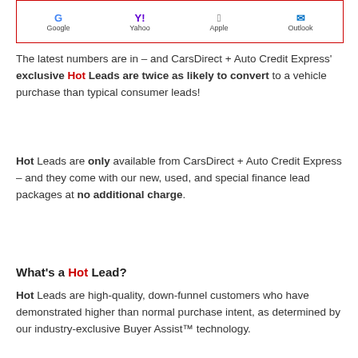[Figure (other): Partial chart image showing icons/logos for Google, Yahoo, Apple, Outlook with a red border]
The latest numbers are in – and CarsDirect + Auto Credit Express' exclusive Hot Leads are twice as likely to convert to a vehicle purchase than typical consumer leads!
Hot Leads are only available from CarsDirect + Auto Credit Express – and they come with our new, used, and special finance lead packages at no additional charge.
What's a Hot Lead?
Hot Leads are high-quality, down-funnel customers who have demonstrated higher than normal purchase intent, as determined by our industry-exclusive Buyer Assist™ technology.